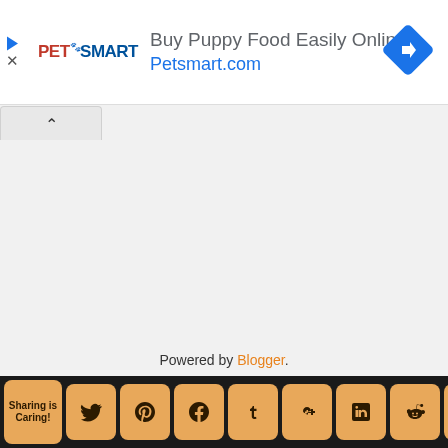[Figure (screenshot): PetSmart advertisement banner with logo, headline 'Buy Puppy Food Easily Online', URL 'Petsmart.com', and a blue diamond navigation arrow icon]
Powered by Blogger.
[Figure (screenshot): Social sharing footer bar with buttons for Twitter, Pinterest, Facebook, Tumblr, Google+, LinkedIn, Reddit, and Feedly on dark background]